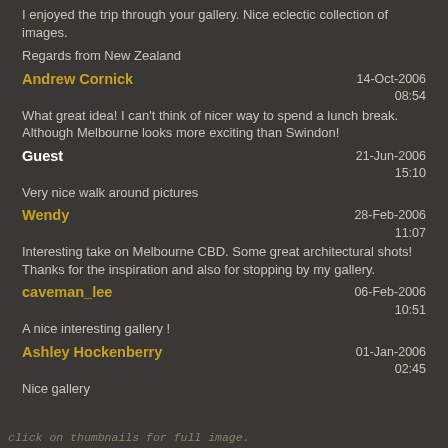I enjoyed the trip through your gallery. Nice eclectic collection of images.
Regards from New Zealand
Andrew Cornick
14-Oct-2006
08:54
What great idea! I can't think of nicer way to spend a lunch break. Although Melbourne looks more exciting than Swindon!
Guest
21-Jun-2006
15:10
Very nice walk around pictures
Wendy
28-Feb-2006
11:07
Interesting take on Melbourne CBD. Some great architectural shots! Thanks for the inspiration and also for stopping by my gallery.
caveman_lee
06-Feb-2006
10:51
A nice interesting gallery !
Ashley Hockenberry
01-Jan-2006
02:45
Nice gallery
click on thumbnails for full image.